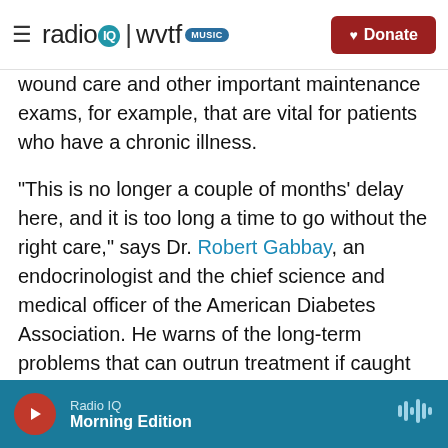radio IQ | wvtf MUSIC — Donate
wound care and other important maintenance exams, for example, that are vital for patients who have a chronic illness.
"This is no longer a couple of months' delay here, and it is too long a time to go without the right care," says Dr. Robert Gabbay, an endocrinologist and the chief science and medical officer of the American Diabetes Association. He warns of the long-term problems that can outrun treatment if caught too late.
"The complications of diabetes — eye disease,
Radio IQ — Morning Edition